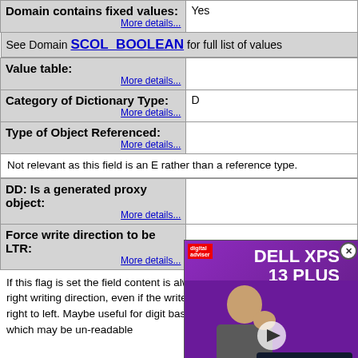| Domain contains fixed values: | Yes |
| Value table: |  |
| Category of Dictionary Type: | D |
| Type of Object Referenced: |  |
| DD: Is a generated proxy object: |  |
| Force write direction to be LTR: |  |
See Domain SCOL_BOOLEAN for full list of values
Not relevant as this field is an E rather than a reference type.
If this flag is set the field content is always displayed using the left to right writing direction, even if the write direction of the screen/user is right to left. Maybe useful for digit based data such as phone numbers which may be un-readable
[Figure (other): Advertisement overlay for Dell XPS 13 Plus with a person in the image and a play button]